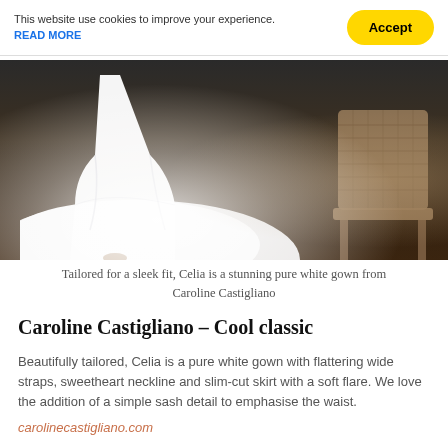This website use cookies to improve your experience. READ MORE  Accept
[Figure (photo): Close-up of a bride wearing a flowing white gown, with a wicker chair visible in the background on a dark wooden floor.]
Tailored for a sleek fit, Celia is a stunning pure white gown from Caroline Castigliano
Caroline Castigliano – Cool classic
Beautifully tailored, Celia is a pure white gown with flattering wide straps, sweetheart neckline and slim-cut skirt with a soft flare. We love the addition of a simple sash detail to emphasise the waist.
carolinecastigliano.com